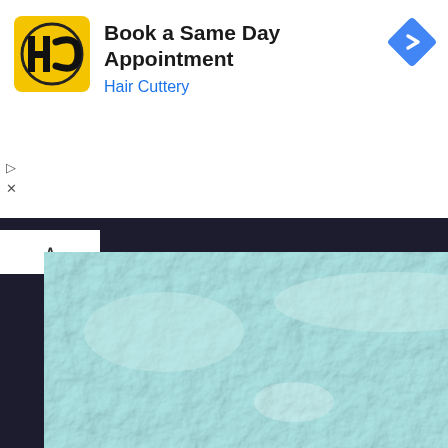[Figure (screenshot): Advertisement banner for Hair Cuttery showing yellow HC logo, text 'Book a Same Day Appointment' and 'Hair Cuttery' in blue, with a blue diamond navigation icon on the right. Below the ad are play and close controls. The main content area shows a light blue textured background (resembling frosted/painted surface) with a dark navy blue smiley face emoji centered on it. A white panel with an up-arrow chevron appears at the top-left of the content area.]